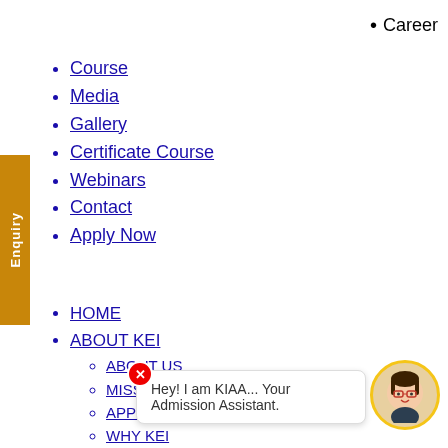Career
Course
Media
Gallery
Certificate Course
Webinars
Contact
Apply Now
HOME
ABOUT KEI
ABOUT US
MISSION & VISION
APPROVALS & AFFILIATIONS
WHY KEI
AWARDS AND RECOGNITION
OUR FOUNDER
ADMISSIONS
CO...
AI...
ANTI SEXUAL HARASSMENT
OTHER ADMINISTRATIVE CELLS
[Figure (illustration): Chat popup with avatar of KIAA admission assistant and close button. Speech bubble says: Hey! I am KIAA... Your Admission Assistant.]